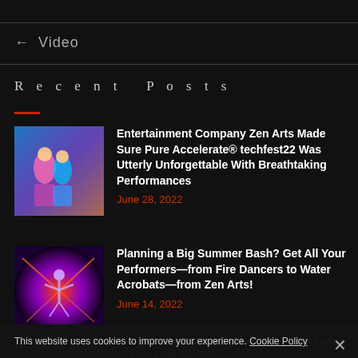← Video
Recent Posts
Entertainment Company Zen Arts Made Sure Pure Accelerate® techfest22 Was Utterly Unforgettable With Breathtaking Performances
June 28, 2022
Planning a Big Summer Bash? Get All Your Performers—from Fire Dancers to Water Acrobats—from Zen Arts!
June 14, 2022
Zen Art's Explains What Goes Into Being an Aerial Performer?
March 23, 2022
This website uses cookies to improve your experience. Cookie Policy ×